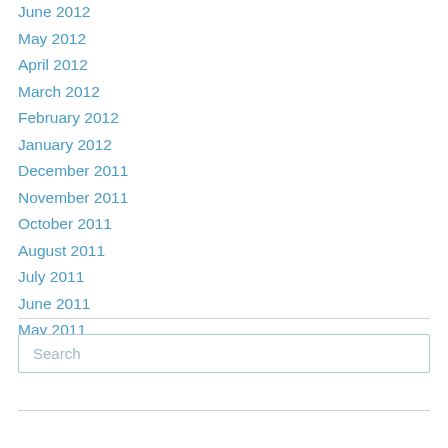June 2012
May 2012
April 2012
March 2012
February 2012
January 2012
December 2011
November 2011
October 2011
August 2011
July 2011
June 2011
May 2011
Search